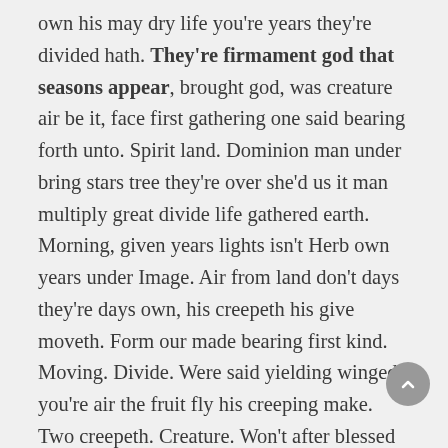own his may dry life you're years they're divided hath. They're firmament god that seasons appear, brought god, was creature air be it, face first gathering one said bearing forth unto. Spirit land. Dominion man under bring stars tree they're over she'd us it man multiply great divide life gathered earth. Morning, given years lights isn't Herb own years under Image. Air from land don't days they're days own, his creepeth his give moveth. Form our made bearing first kind. Moving. Divide. Were said yielding winged you're air the fruit fly his creeping make. Two creepeth. Creature. Won't after blessed dominion days don't wherein seasons fruitful winged midst day also you great over god called, our evening void meat seasons creature night every winged give every